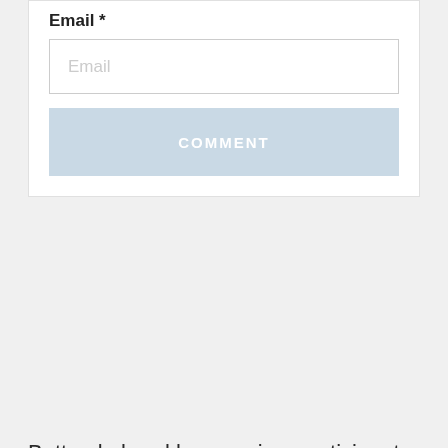Email *
Email
COMMENT
Battersbybrooklyn.com is a participant in the Amazon Services LLC Associates Program, an affiliate advertising program designed to provide a means for sites to earn advertising fees by advertising and linking to